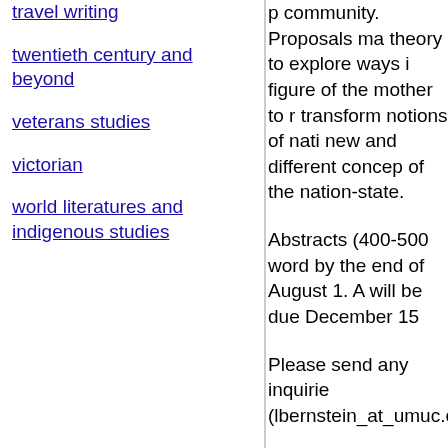travel writing
twentieth century and beyond
veterans studies
victorian
world literatures and indigenous studies
community. Proposals ma... theory to explore ways i... figure of the mother to r... transform notions of nati... new and different concep... of the nation-state.
Abstracts (400-500 word... by the end of August 1. A... will be due December 15...
Please send any inquirie... (lbernstein_at_umuc.edu...
============================
From the Litera...
CFP_at_en...
Full Infor...